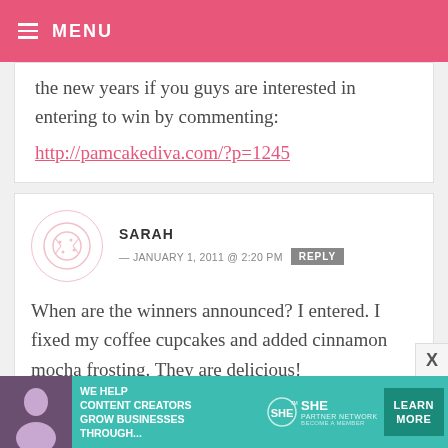MENU
the new years if you guys are interested in entering to win by commenting: http://pamcakediva.com/?p=1245
SARAH — JANUARY 1, 2011 @ 2:20 PM   REPLY
When are the winners announced? I entered. I fixed my coffee cupcakes and added cinnamon mocha frosting. They are delicious!
[Figure (infographic): SHE Partner Network advertisement banner: WE HELP CONTENT CREATORS GROW BUSINESSES THROUGH... with LEARN MORE button]